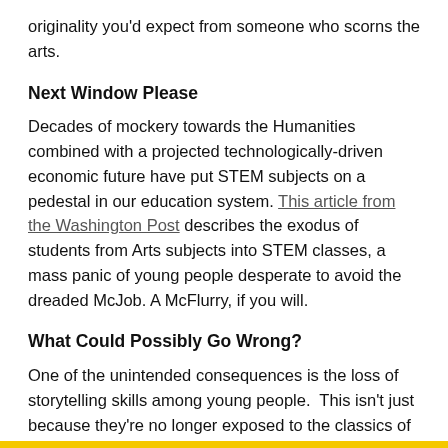originality you'd expect from someone who scorns the arts.
Next Window Please
Decades of mockery towards the Humanities combined with a projected technologically-driven economic future have put STEM subjects on a pedestal in our education system. This article from the Washington Post describes the exodus of students from Arts subjects into STEM classes, a mass panic of young people desperate to avoid the dreaded McJob. A McFlurry, if you will.
What Could Possibly Go Wrong?
One of the unintended consequences is the loss of storytelling skills among young people.  This isn't just because they're no longer exposed to the classics of literature, but because the push to STEM actively implies that that the arts are not important.  Spoiler: they're super